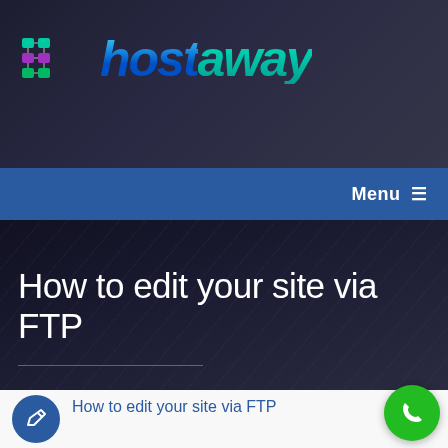[Figure (logo): Hostaway logo with colorful network icon and italic blue/teal gradient wordmark]
Menu ≡
How to edit your site via FTP
[Figure (illustration): Dark blue circle icon with pencil/edit symbol]
How to edit your site via FTP